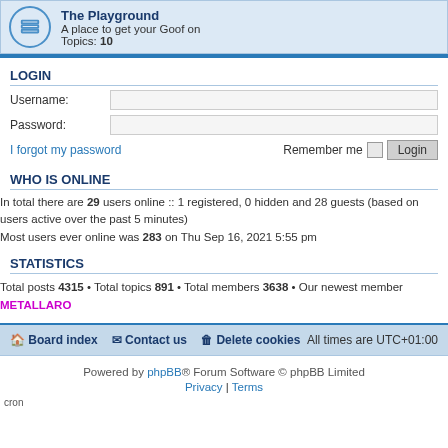The Playground
A place to get your Goof on
Topics: 10
LOGIN
Username:
Password:
I forgot my password
Remember me
WHO IS ONLINE
In total there are 29 users online :: 1 registered, 0 hidden and 28 guests (based on users active over the past 5 minutes)
Most users ever online was 283 on Thu Sep 16, 2021 5:55 pm
STATISTICS
Total posts 4315 • Total topics 891 • Total members 3638 • Our newest member METALLARO
Board index   Contact us   Delete cookies   All times are UTC+01:00
Powered by phpBB® Forum Software © phpBB Limited
Privacy | Terms
cron